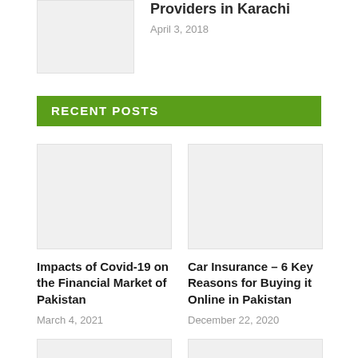[Figure (photo): Thumbnail image placeholder, light gray rectangle]
Providers in Karachi
April 3, 2018
RECENT POSTS
[Figure (photo): Thumbnail image placeholder for Impacts of Covid-19 post]
Impacts of Covid-19 on the Financial Market of Pakistan
March 4, 2021
[Figure (photo): Thumbnail image placeholder for Car Insurance post]
Car Insurance – 6 Key Reasons for Buying it Online in Pakistan
December 22, 2020